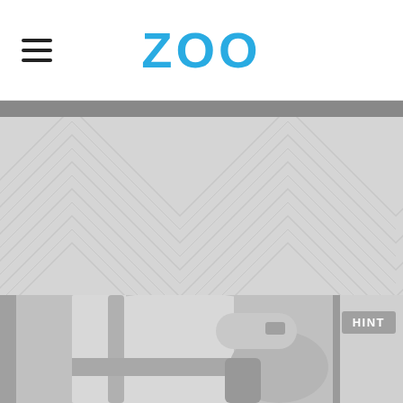ZOO
[Figure (photo): ZOO website screenshot showing header with hamburger menu icon on the left and ZOO logo in blue in the center, a gray bar below, a light gray chevron/herringbone pattern background section, and a cropped grayscale photo of a person's torso and hands holding items, with a HINT button overlay on the right side.]